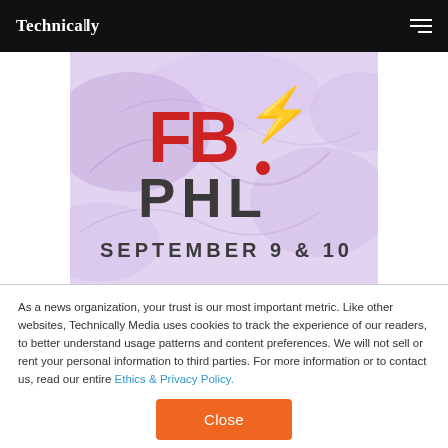Technically
[Figure (logo): FB! PHL event logo on purple/lavender textured background with text SEPTEMBER 9 & 10]
As a news organization, your trust is our most important metric. Like other websites, Technically Media uses cookies to track the experience of our readers, to better understand usage patterns and content preferences. We will not sell or rent your personal information to third parties. For more information or to contact us, read our entire Ethics & Privacy Policy.